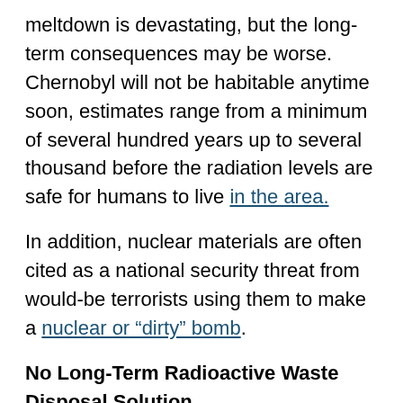meltdown is devastating, but the long-term consequences may be worse. Chernobyl will not be habitable anytime soon, estimates range from a minimum of several hundred years up to several thousand before the radiation levels are safe for humans to live in the area.
In addition, nuclear materials are often cited as a national security threat from would-be terrorists using them to make a nuclear or "dirty" bomb.
No Long-Term Radioactive Waste Disposal Solution
Even when nuclear plants are operating as designed, they put out hazardous waste that remains dangerous for tens of thousands of years. The US currently has no long-term storage solution for this waste; most is stored at the power plants themselves. And recently, there has been a proposal by the federal administration to classify radioactive waste as a lower threat level so it can be more easily disposed of at a lower cost. This is a concern for many states that have waste dating back to World War II,